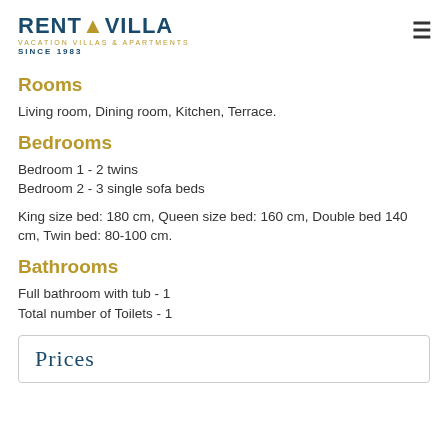RENT A VILLA VACATION VILLAS & APARTMENTS SINCE 1983
Rooms
Living room, Dining room, Kitchen, Terrace.
Bedrooms
Bedroom 1 - 2 twins
Bedroom 2 - 3 single sofa beds
King size bed: 180 cm, Queen size bed: 160 cm, Double bed 140 cm, Twin bed: 80-100 cm.
Bathrooms
Full bathroom with tub - 1
Total number of Toilets - 1
Prices